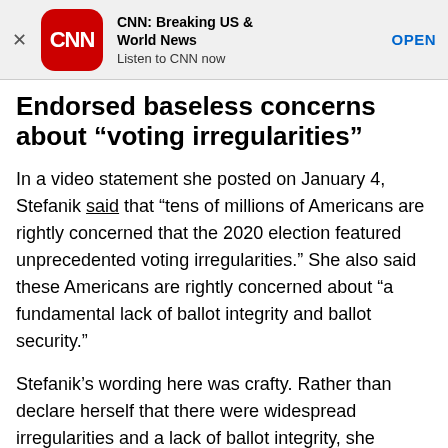[Figure (other): CNN app banner advertisement with CNN logo, title 'CNN: Breaking US & World News', subtitle 'Listen to CNN now', and OPEN button]
Endorsed baseless concerns about “voting irregularities”
In a video statement she posted on January 4, Stefanik said that “tens of millions of Americans are rightly concerned that the 2020 election featured unprecedented voting irregularities.” She also said these Americans are rightly concerned about “a fundamental lack of ballot integrity and ballot security.”
Stefanik’s wording here was crafty. Rather than declare herself that there were widespread irregularities and a lack of ballot integrity, she invoked other Americans’ concerns about